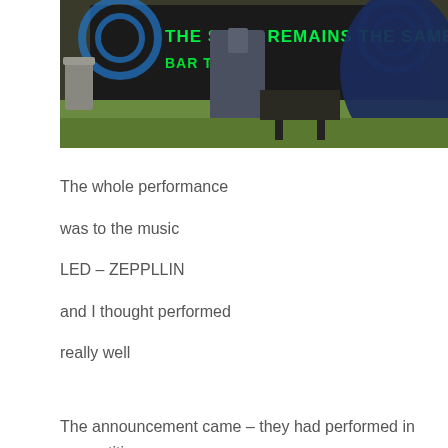[Figure (photo): Outdoor event scene with a black banner reading 'THE SONG REMAINS THE SAME BAR TWO' in green neon lettering with blue swirl decorations. People in jackets visible, a trash can on the left, grass in background.]
The whole performance was to the music LED – ZEPPLLIN and I thought performed really well

The announcement came – they had performed in competition

and each time – FIRST PLACE –

They were going to compete at JMU this weekend